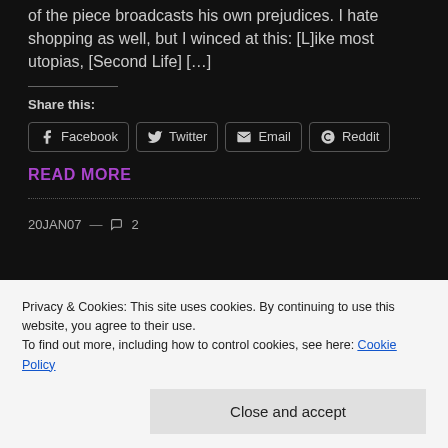whatever they want they recreate suburbia. The author of the piece broadcasts his own prejudices. I hate shopping as well, but I winced at this: [L]ike most utopias, [Second Life] […]
Share this:
Facebook  Twitter  Email  Reddit
READ MORE
20JAN07 — 💬 2
Privacy & Cookies: This site uses cookies. By continuing to use this website, you agree to their use.
To find out more, including how to control cookies, see here: Cookie Policy
Close and accept